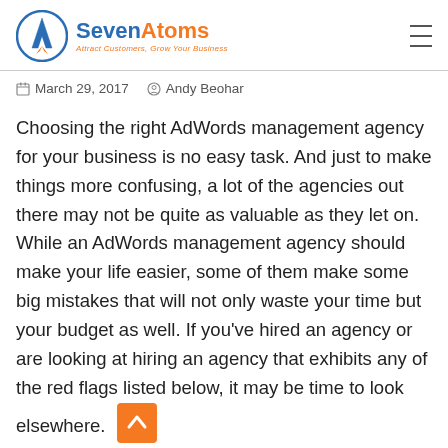SevenAtoms — Attract Customers, Grow Your Business
March 29, 2017   Andy Beohar
Choosing the right AdWords management agency for your business is no easy task. And just to make things more confusing, a lot of the agencies out there may not be quite as valuable as they let on. While an AdWords management agency should make your life easier, some of them make some big mistakes that will not only waste your time but your budget as well. If you've hired an agency or are looking at hiring an agency that exhibits any of the red flags listed below, it may be time to look elsewhere.